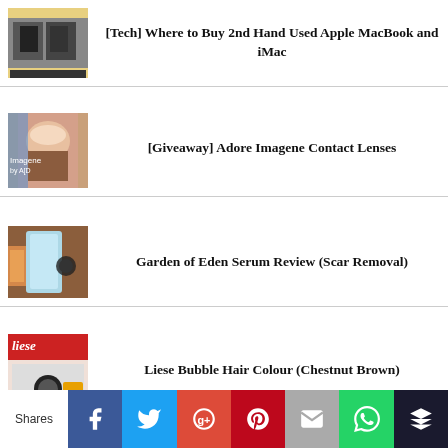[Tech] Where to Buy 2nd Hand Used Apple MacBook and iMac
[Giveaway] Adore Imagene Contact Lenses
Garden of Eden Serum Review (Scar Removal)
Liese Bubble Hair Colour (Chestnut Brown)
Shares | Facebook | Twitter | Google+ | Pinterest | Email | WhatsApp | Bloglovin